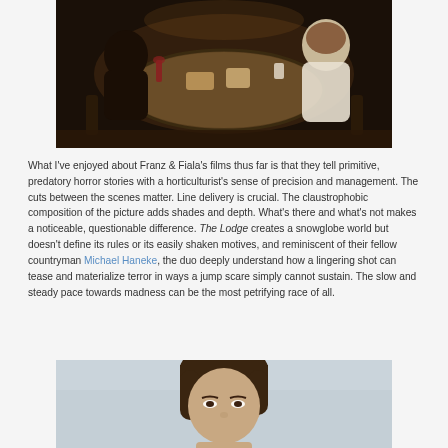[Figure (photo): Dark dinner scene with people seated around a round table with food and drinks, dimly lit interior]
What I've enjoyed about Franz & Fiala's films thus far is that they tell primitive, predatory horror stories with a horticulturist's sense of precision and management. The cuts between the scenes matter. Line delivery is crucial. The claustrophobic composition of the picture adds shades and depth. What's there and what's not makes a noticeable, questionable difference. The Lodge creates a snowglobe world but doesn't define its rules or its easily shaken motives, and reminiscent of their fellow countryman Michael Haneke, the duo deeply understand how a lingering shot can tease and materialize terror in ways a jump scare simply cannot sustain. The slow and steady pace towards madness can be the most petrifying race of all.
[Figure (photo): Close-up portrait of a woman with dark hair against a light blue/grey background]